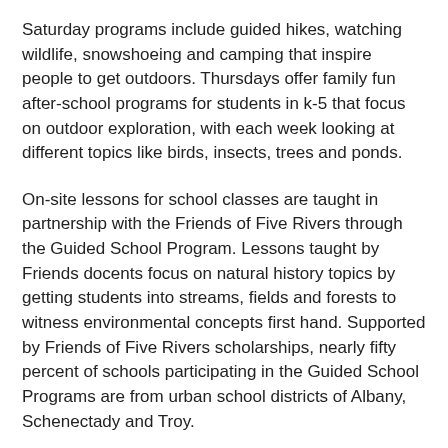Saturday programs include guided hikes, watching wildlife, snowshoeing and camping that inspire people to get outdoors. Thursdays offer family fun after-school programs for students in k-5 that focus on outdoor exploration, with each week looking at different topics like birds, insects, trees and ponds.
On-site lessons for school classes are taught in partnership with the Friends of Five Rivers through the Guided School Program. Lessons taught by Friends docents focus on natural history topics by getting students into streams, fields and forests to witness environmental concepts first hand. Supported by Friends of Five Rivers scholarships, nearly fifty percent of schools participating in the Guided School Programs are from urban school districts of Albany, Schenectady and Troy.
In 2016, Five Rivers will also host Excelsior Conservation Corps members to work on a history trail throughout the center's grounds. Governor Cuomo recently announced the launch of the Excelsior